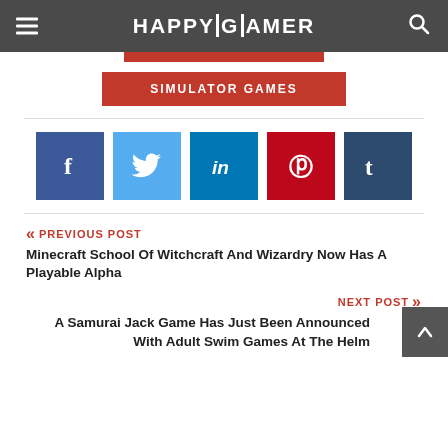HAPPYGAMER
[Figure (other): Red button bar (partially visible, cut off at top)]
SIMULATOR GAMES
[Figure (other): Social media share buttons: Facebook, Twitter, LinkedIn, Pinterest, Tumblr]
« PREVIOUS POST
Minecraft School Of Witchcraft And Wizardry Now Has A Playable Alpha
NEXT POST »
A Samurai Jack Game Has Just Been Announced With Adult Swim Games At The Helm